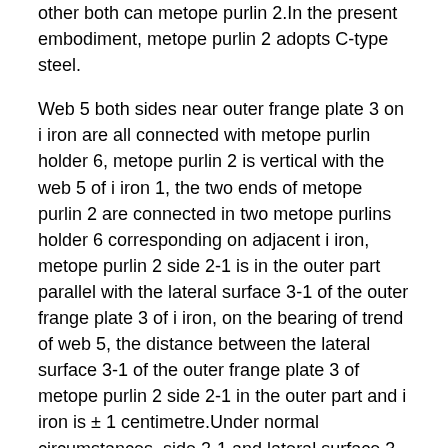other both can metope purlin 2.In the present embodiment, metope purlin 2 adopts C-type steel.
Web 5 both sides near outer frange plate 3 on i iron are all connected with metope purlin holder 6, metope purlin 2 is vertical with the web 5 of i iron 1, the two ends of metope purlin 2 are connected in two metope purlins holder 6 corresponding on adjacent i iron, metope purlin 2 side 2-1 is in the outer part parallel with the lateral surface 3-1 of the outer frange plate 3 of i iron, on the bearing of trend of web 5, the distance between the lateral surface 3-1 of the outer frange plate 3 of metope purlin 2 side 2-1 in the outer part and i iron is ± 1 centimetre.Under normal circumstances, side 2-1 and lateral surface 3-1 is in the same plane.
As shown in Figure 6,7, the bracket of metope purlin holder 6 to be a cross section be L shape, the vertical section 6-2 that metope purlin holder 6 comprises horizontal segment 6-1 and upwards bends, horizontal segment 6-1 level is fixedly connected on the web 5 of i iron 1, and the end of metope purlin 2 is connected on horizontal segment 6-1.Vertical section 6-2 upwards curved 90 degree, keeps off on the inner side of metope purlin holder 6, can prevent